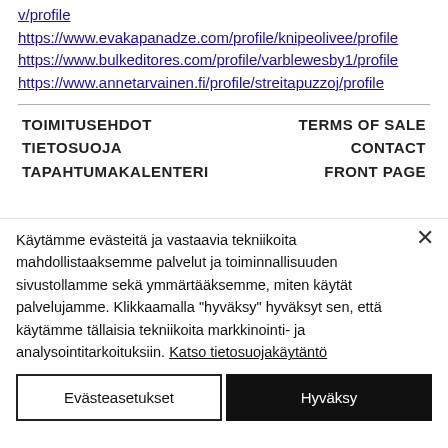v/profile
https://www.evakapanadze.com/profile/knipeolivee/profile
https://www.bulkeditores.com/profile/varblewesby1/profile
https://www.annetarvainen.fi/profile/streitapuzzoj/profile
TOIMITUSEHDOT
TIETOSUOJA
TAPAHTUMAKALENTERI
TERMS OF SALE
CONTACT
FRONT PAGE
Käytämme evästeitä ja vastaavia tekniikoita mahdollistaaksemme palvelut ja toiminnallisuuden sivustollamme sekä ymmärtääksemme, miten käytät palvelujamme. Klikkaamalla "hyväksy" hyväksyt sen, että käytämme tällaisia tekniikoita markkinointi- ja analysointitarkoituksiin. Katso tietosuojakäytäntö
Evästeasetukset
Hyväksy